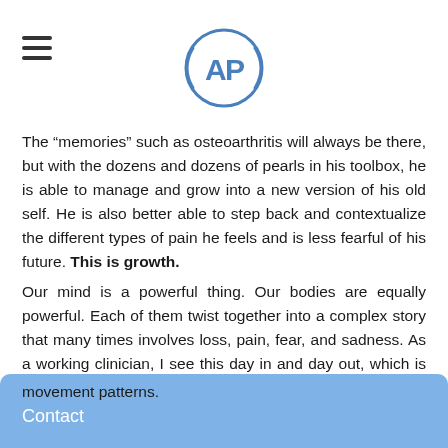AP logo and navigation
The “memories” such as osteoarthritis will always be there, but with the dozens and dozens of pearls in his toolbox, he is able to manage and grow into a new version of his old self. He is also better able to step back and contextualize the different types of pain he feels and is less fearful of his future. This is growth.
Our mind is a powerful thing. Our bodies are equally powerful. Each of them twist together into a complex story that many times involves loss, pain, fear, and sadness. As a working clinician, I see this day in and day out, which is why I am so motivated to help my patients’ minds and bodies learn new movement memories they need to better live the lives they deserve. With work, these old movement memories are reprogrammed into a new movement system that can give a fresh capacity to the function of the previously painful and weak movement patterns.
Contact